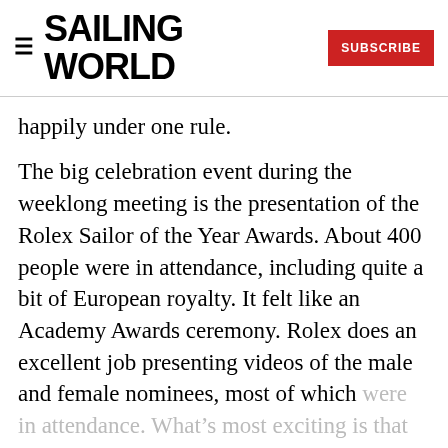SAILING WORLD | SUBSCRIBE
happily under one rule.
The big celebration event during the weeklong meeting is the presentation of the Rolex Sailor of the Year Awards. About 400 people were in attendance, including quite a bit of European royalty. It felt like an Academy Awards ceremony. Rolex does an excellent job presenting videos of the male and female nominees, most of which were in attendance. What’s most exciting is that none of them know who is going to